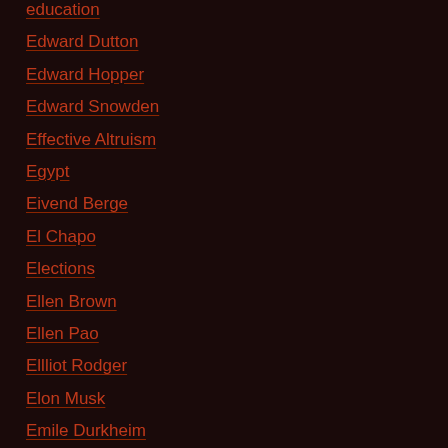education
Edward Dutton
Edward Hopper
Edward Snowden
Effective Altruism
Egypt
Eivend Berge
El Chapo
Elections
Ellen Brown
Ellen Pao
Ellliot Rodger
Elon Musk
Emile Durkheim
Emma the Emo